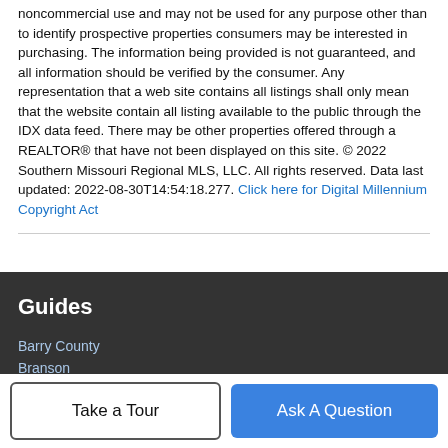noncommercial use and may not be used for any purpose other than to identify prospective properties consumers may be interested in purchasing. The information being provided is not guaranteed, and all information should be verified by the consumer. Any representation that a web site contains all listings shall only mean that the website contain all listing available to the public through the IDX data feed. There may be other properties offered through a REALTOR® that have not been displayed on this site. © 2022 Southern Missouri Regional MLS, LLC. All rights reserved. Data last updated: 2022-08-30T14:54:18.277. Click here for Digital Millennium Copyright Act
Guides
Barry County
Branson
Christian County
Forsyth
Take a Tour
Ask A Question